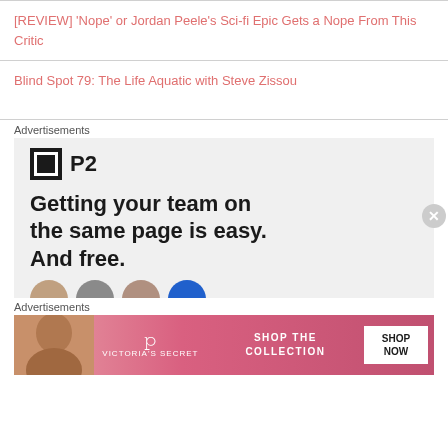[REVIEW] 'Nope' or Jordan Peele's Sci-fi Epic Gets a Nope From This Critic
Blind Spot 79: The Life Aquatic with Steve Zissou
Advertisements
[Figure (other): P2 advertisement: logo with black square containing white border square, text 'P2', headline 'Getting your team on the same page is easy. And free.' with partial faces at bottom]
Advertisements
[Figure (other): Victoria's Secret advertisement: model photo on left, VS logo in center, 'SHOP THE COLLECTION' text, 'SHOP NOW' button on right, pink/red gradient background]